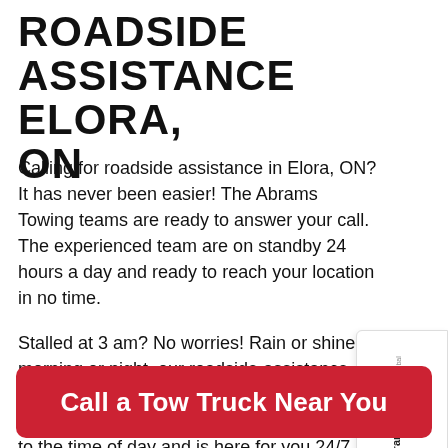ROADSIDE ASSISTANCE ELORA, ON
Calling for roadside assistance in Elora, ON? It has never been easier! The Abrams Towing teams are ready to answer your call. The experienced team are on standby 24 hours a day and ready to reach your location in no time.
Stalled at 3 am? No worries! Rain or shine, morning or night, our roadside assistance Elora teams will be by your side in no time. Our crew knows that car trouble is not limited to the time of day and is here for you 24/7. Give our Elora roadside assistance team a call anytime you
[Figure (other): Sysnet Global Solutions Assurance Card advertisement widget with orange circle arrow icon]
Call a Tow Truck Near You